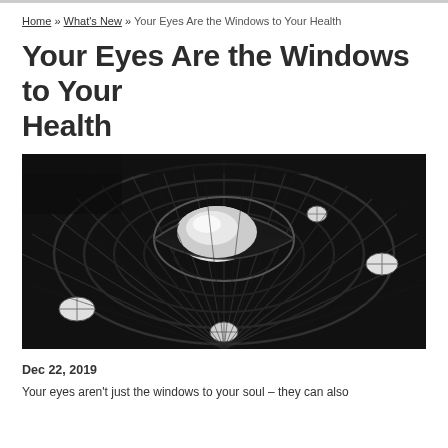Home » What's New » Your Eyes Are the Windows to Your Health
Your Eyes Are the Windows to Your Health
[Figure (photo): Black and white close-up architectural photograph of a circular skylight or dome structure resembling an eye, with radiating ribs and illuminated glass panels.]
Dec 22, 2019
Your eyes aren't just the windows to your soul – they can also